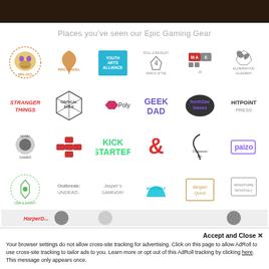Places you've seen our Epic Gaming Gear
[Figure (logo): Grid of gaming/tabletop brand logos including RPG GCO, RPG Travel, Youth Arts Alliance, Roll & Revelry, D20 maker, Elderwood Academy, Stranger Things, Critical Role, Polygon, Geek Dad, NorthStar Games, Hitpoint Press, Nord Games, controller logo, Kickstarter, D&D ampersand, Chaosium Inc., Paizo, Geek & Sundry, Outbreak Undead, Jasper's Game Day, White Wolf, Bargain Quest, Miniature Monthly, and more.]
Accept and Close ✕
Your browser settings do not allow cross-site tracking for advertising. Click on this page to allow AdRoll to use cross-site tracking to tailor ads to you. Learn more or opt out of this AdRoll tracking by clicking here. This message only appears once.